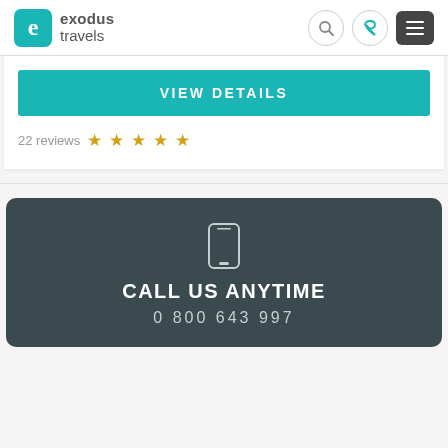exodus travels
VIEW DETAILS
22 reviews ★ ★ ★ ★ ★
CALL US ANYTIME
0 800 643 997